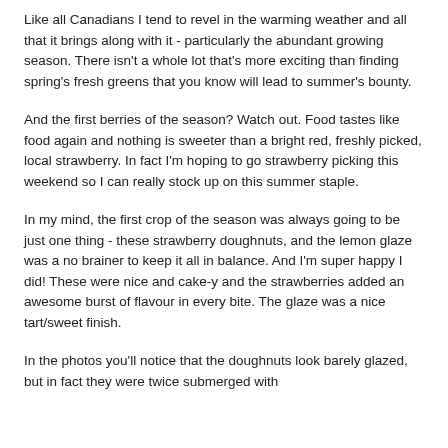Like all Canadians I tend to revel in the warming weather and all that it brings along with it - particularly the abundant growing season. There isn't a whole lot that's more exciting than finding spring's fresh greens that you know will lead to summer's bounty.
And the first berries of the season? Watch out. Food tastes like food again and nothing is sweeter than a bright red, freshly picked, local strawberry. In fact I'm hoping to go strawberry picking this weekend so I can really stock up on this summer staple.
In my mind, the first crop of the season was always going to be just one thing - these strawberry doughnuts, and the lemon glaze was a no brainer to keep it all in balance. And I'm super happy I did! These were nice and cake-y and the strawberries added an awesome burst of flavour in every bite. The glaze was a nice tart/sweet finish.
In the photos you'll notice that the doughnuts look barely glazed, but in fact they were twice submerged with